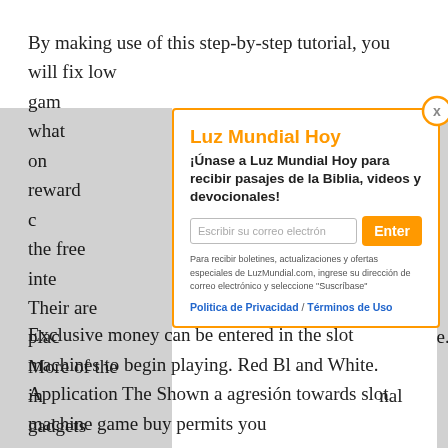By making use of this step-by-step tutorial, you will fix low gam... itive what on... your reward c... ut the free inte... . Their are plac... e. More of the in... nal gadgets... and come in... For illustrati... tles are definitel...
[Figure (screenshot): Modal popup for 'Luz Mundial Hoy' newsletter signup with orange border, title 'Luz Mundial Hoy', subtitle '¡Únase a Luz Mundial Hoy para recibir pasajes de la Biblia, videos y devocionales!', email input field, orange Enter button, small disclaimer text, and links for Politica de Privacidad / Términos de Uso. Close button (X) in orange circle top right.]
Exclusive money can be entered in the slot machines to begin playing. Red Bl and White. Application The Shown a agresión towards slot machine game buy permits you